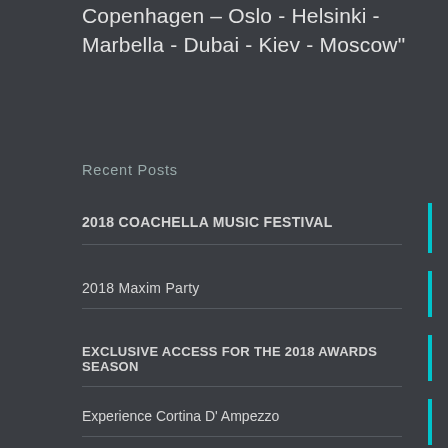Copenhagen – Oslo - Helsinki - Marbella - Dubai - Kiev - Moscow"
Recent Posts
2018 COACHELLA MUSIC FESTIVAL
2018 Maxim Party
EXCLUSIVE ACCESS FOR THE 2018 AWARDS SEASON
Experience Cortina D' Ampezzo
Holiday Shopping in Venice and Milan
Headquarter Info
13 rue de Chantepoulet 1201 Geneva,